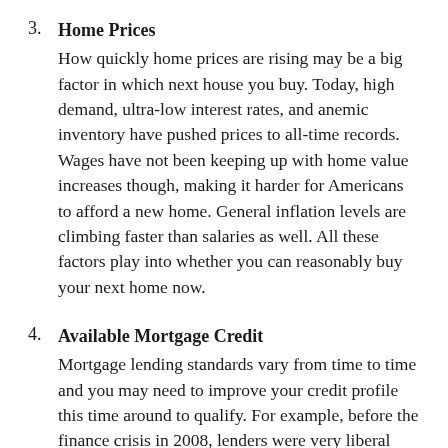3. Home Prices
How quickly home prices are rising may be a big factor in which next house you buy. Today, high demand, ultra-low interest rates, and anemic inventory have pushed prices to all-time records. Wages have not been keeping up with home value increases though, making it harder for Americans to afford a new home. General inflation levels are climbing faster than salaries as well. All these factors play into whether you can reasonably buy your next home now.
4. Available Mortgage Credit
Mortgage lending standards vary from time to time and you may need to improve your credit profile this time around to qualify. For example, before the finance crisis in 2008, lenders were very liberal with funding, making plenty of riskier loans like interest-only and no-documentation mortgages. Today, however, standards are higher, with better credit scores and more proof